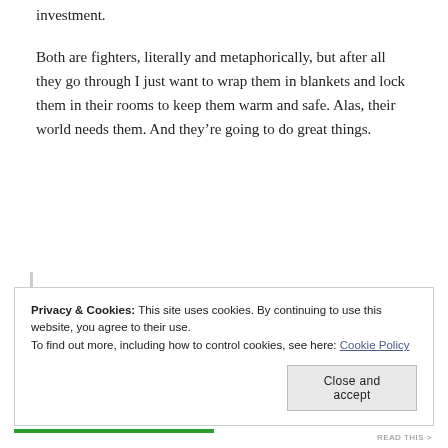investment.
Both are fighters, literally and metaphorically, but after all they go through I just want to wrap them in blankets and lock them in their rooms to keep them warm and safe. Alas, their world needs them. And they’re going to do great things.
Power. It all comes back to power — holding on to it and pushing down those who are at the bottom in order to keep themselves on top.
Privacy & Cookies: This site uses cookies. By continuing to use this website, you agree to their use.
To find out more, including how to control cookies, see here: Cookie Policy
Close and accept